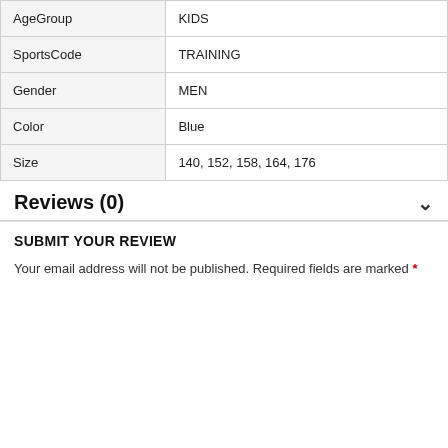| Attribute | Value |
| --- | --- |
| AgeGroup | KIDS |
| SportsCode | TRAINING |
| Gender | MEN |
| Color | Blue |
| Size | 140, 152, 158, 164, 176 |
Reviews (0)
SUBMIT YOUR REVIEW
Your email address will not be published. Required fields are marked *